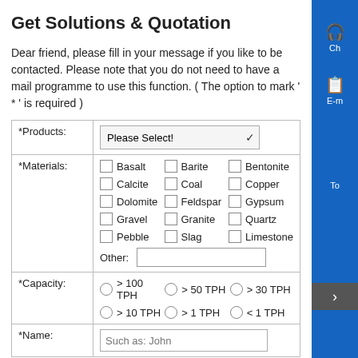Get Solutions & Quotation
Dear friend, please fill in your message if you like to be contacted. Please note that you do not need to have a mail programme to use this function. ( The option to mark ' * ' is required )
| *Products: | Please Select! [dropdown] |
| *Materials: | Checkboxes: Basalt, Barite, Bentonite, Calcite, Coal, Copper, Dolomite, Feldspar, Gypsum, Gravel, Granite, Quartz, Pebble, Slag, Limestone; Other: [text input] |
| *Capacity: | > 100 TPH, > 50 TPH, > 30 TPH, > 10 TPH, > 1 TPH, < 1 TPH (radio buttons) |
| *Name: | Such as: John [text input] |